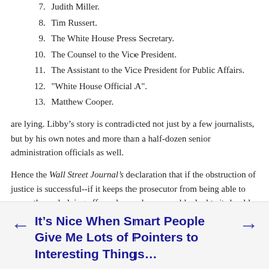7. Judith Miller.
8. Tim Russert.
9. The White House Press Secretary.
10. The Counsel to the Vice President.
11. The Assistant to the Vice President for Public Affairs.
12. "White House Official A".
13. Matthew Cooper.
are lying. Libby’s story is contradicted not just by a few journalists, but by his own notes and more than a half-dozen senior administration officials as well.
Hence the Wall Street Journal’s declaration that if the obstruction of justice is successful--if it keeps the prosecutor from being able to prove the underlying offense beyond a reasonable doubt--it should not be prosecuted.
October 30, 2005 at 08:30 in #journamalism | Permalink | Comments (14)
It’s Nice When Smart People Give Me Lots of Pointers to Interesting Things...